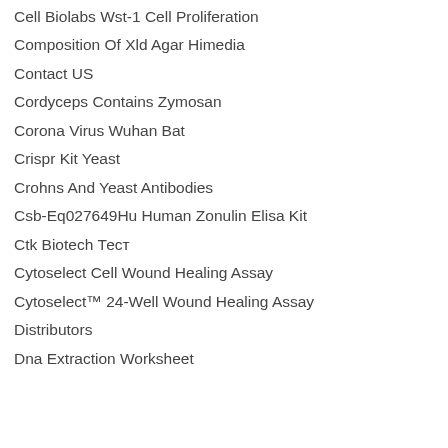Cell Biolabs Wst-1 Cell Proliferation
Composition Of Xld Agar Himedia
Contact US
Cordyceps Contains Zymosan
Corona Virus Wuhan Bat
Crispr Kit Yeast
Crohns And Yeast Antibodies
Csb-Eq027649Hu Human Zonulin Elisa Kit
Ctk Biotech Тест
Cytoselect Cell Wound Healing Assay
Cytoselect™ 24-Well Wound Healing Assay
Distributors
Dna Extraction Worksheet